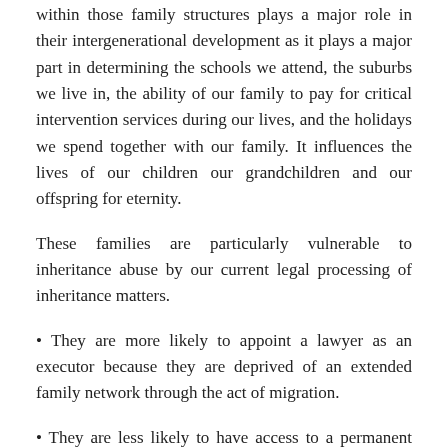within those family structures plays a major role in their intergenerational development as it plays a major part in determining the schools we attend, the suburbs we live in, the ability of our family to pay for critical intervention services during our lives, and the holidays we spend together with our family. It influences the lives of our children our grandchildren and our offspring for eternity.
These families are particularly vulnerable to inheritance abuse by our current legal processing of inheritance matters.
• They are more likely to appoint a lawyer as an executor because they are deprived of an extended family network through the act of migration.
• They are less likely to have access to a permanent and trusted family lawyer.